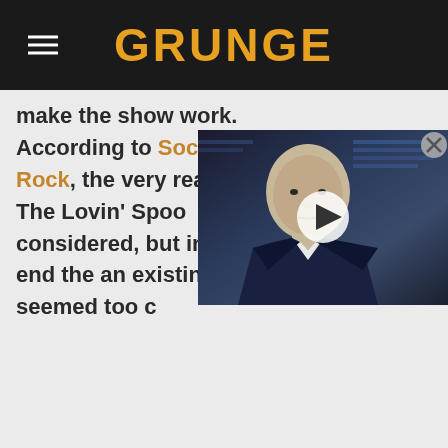GRUNGE
make the show work. According to Society of Rock, the very real band The Lovin' Spoo considered, but in the end the an existing band seemed too c
[Figure (photo): Video thumbnail showing a bald man in a suit against a dark blue background, with a play button overlay and a close button in the top right corner]